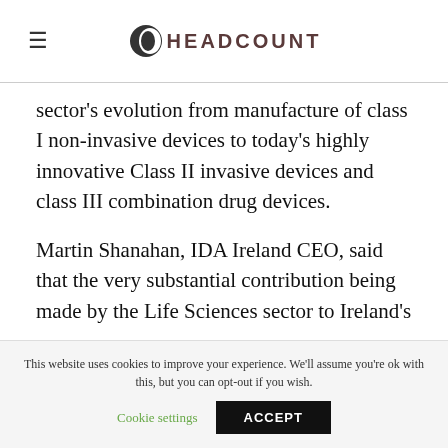HEADCOUNT
sector's evolution from manufacture of class I non-invasive devices to today's highly innovative Class II invasive devices and class III combination drug devices.
Martin Shanahan, IDA Ireland CEO, said that the very substantial contribution being made by the Life Sciences sector to Ireland's
This website uses cookies to improve your experience. We'll assume you're ok with this, but you can opt-out if you wish.
Cookie settings   ACCEPT